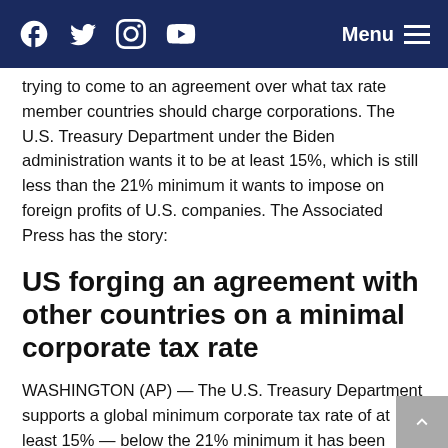Facebook Twitter Instagram YouTube Menu
trying to come to an agreement over what tax rate member countries should charge corporations. The U.S. Treasury Department under the Biden administration wants it to be at least 15%, which is still less than the 21% minimum it wants to impose on foreign profits of U.S. companies. The Associated Press has the story:
US forging an agreement with other countries on a minimal corporate tax rate
WASHINGTON (AP) — The U.S. Treasury Department supports a global minimum corporate tax rate of at least 15% — below the 21% minimum it has been seeking to